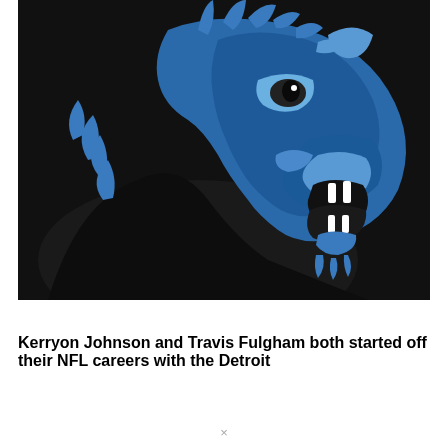[Figure (logo): A blue and black panther/lion head logo facing right with mouth open showing white fangs, on a black background. The animal has blue fur markings and dark body fur.]
Kerryon Johnson and Travis Fulgham both started off their NFL careers with the Detroit